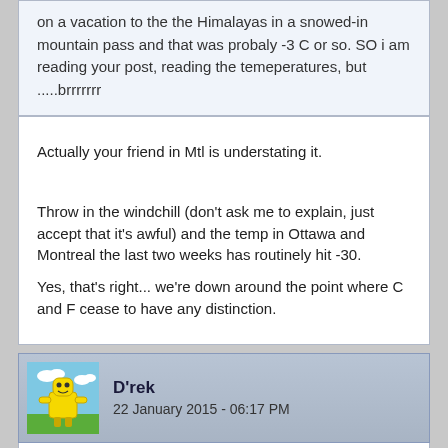on a vacation to the the Himalayas in a snowed-in mountain pass and that was probaly -3 C or so. SO i am reading your post, reading the temeperatures, but .....brrrrrrr
Actually your friend in Mtl is understating it.
Throw in the windchill (don't ask me to explain, just accept that it's awful) and the temp in Ottawa and Montreal the last two weeks has routinely hit -30.

Yes, that's right... we're down around the point where C and F cease to have any distinction.
D'rek
22 January 2015 - 06:17 PM
You know this is a proper Canada thread when it took only 10ish posts before we started talking about cold winters, even though the original topic had nothing to do with the weather